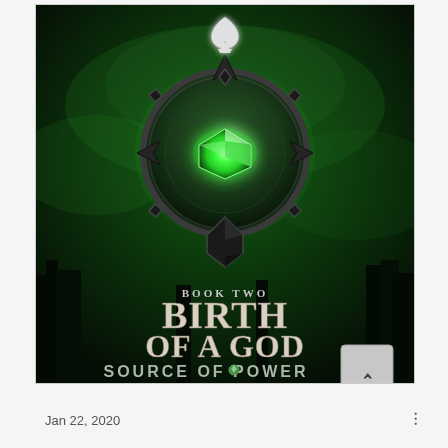[Figure (illustration): Book cover for 'Birth of a God: Source of Power' Book Two. Dark fantasy cover with green mystical background featuring swirling mist and silhouetted trees. Central element is a large dark metallic circular medallion/compass with four spike-like protrusions, featuring a glowing green gemstone/crystal in the center. At the top of the medallion is a spade symbol (playing card suit). Below the medallion, large stylized fantasy text reads 'BOOK TWO' in smaller text above, then 'BIRTH OF A GOD' in large ornate letters, and 'SOURCE OF POWER' in silver/metallic letters at the bottom. A navigation arrow (^) button appears in the lower right of the cover.]
Jan 22, 2020